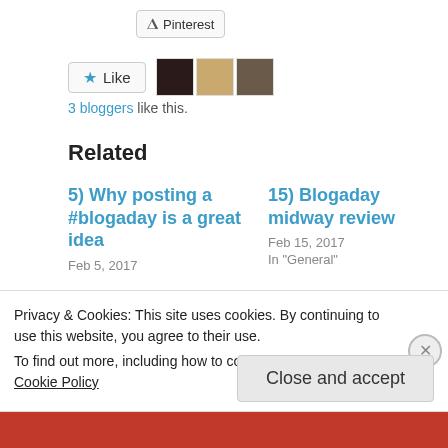[Figure (other): Pinterest share button]
[Figure (other): Like button with star icon and 3 blogger avatar thumbnails]
3 bloggers like this.
Related
5) Why posting a #blogaday is a great idea
Feb 5, 2017
15) Blogaday midway review
Feb 15, 2017
In "General"
Privacy & Cookies: This site uses cookies. By continuing to use this website, you agree to their use.
To find out more, including how to control cookies, see here:
Cookie Policy
Close and accept